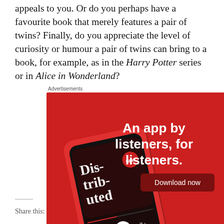appeals to you. Or do you perhaps have a favourite book that merely features a pair of twins? Finally, do you appreciate the level of curiosity or humour a pair of twins can bring to a book, for example, as in the Harry Potter series or in Alice in Wonderland?
Advertisements
[Figure (illustration): Pocket Casts advertisement. Red background with a smartphone showing the Distributed podcast app. Text reads: 'An app by listeners, for listeners.' with a 'Download now' button and the Pocket Casts logo.]
REPORT THIS AD
Share this: